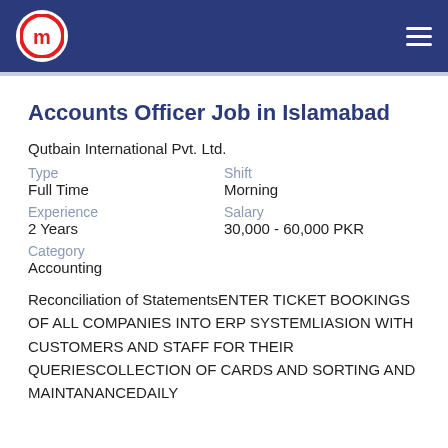Muzamal Travels (logo) navigation header
Accounts Officer Job in Islamabad
Qutbain International Pvt. Ltd.
| Type | Shift |
| --- | --- |
| Full Time | Morning |
| Experience | Salary |
| 2 Years | 30,000 - 60,000 PKR |
| Category |  |
| Accounting |  |
Reconciliation of StatementsENTER TICKET BOOKINGS OF ALL COMPANIES INTO ERP SYSTEMLIASION WITH CUSTOMERS AND STAFF FOR THEIR QUERIESCOLLECTION OF CARDS AND SORTING AND MAINTANANCEDAILY